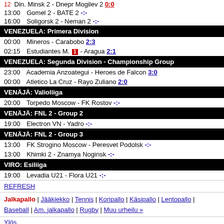12  Din. Minsk 2 - Dnepr Mogilev 2  0:0
13:00  Gomel 2 - BATE 2  -:-
16:00  Soligorsk 2 - Neman 2  -:-
VENEZUELA: Primera Division
00:00  Mineros - Carabobo  2:3
02:15  Estudiantes M. [1] - Aragua  2:1
VENEZUELA: Segunda Division - Championship Group
23:00  Academia Anzoategui - Heroes de Falcon  3:0
00:00  Atletico La Cruz - Rayo Zuliano  2:0
VENÄJÄ: Valioliiga
20:00  Torpedo Moscow - FK Rostov  -:-
VENÄJÄ: FNL 2 - Group 2
19:00  Electron VN - Yadro  -:-
VENÄJÄ: FNL 2 - Group 3
13:00  FK Strogino Moscow - Peresvet Podolsk  -:-
13:00  Khimki 2 - Znamya Noginsk  -:-
VIRO: Esiliiga
19:00  Levadia U21 - Flora U21  -:-
REFRESH
Jalkapallo | Jääkiekko | Tennis | Koripallo | Käsipallo | Lentopallo | Baseball | Am. jalkapallo | Rugby | Muu urheilu »
Ylös
m.Flashscore.fi tarjoaa jalkapallo tulospalvelun - mobiili livescore. Mobiiliversio käyttää teknisistä syistä erilaisia parametreiä Flashscore.fi nettisivuun verrattuna.